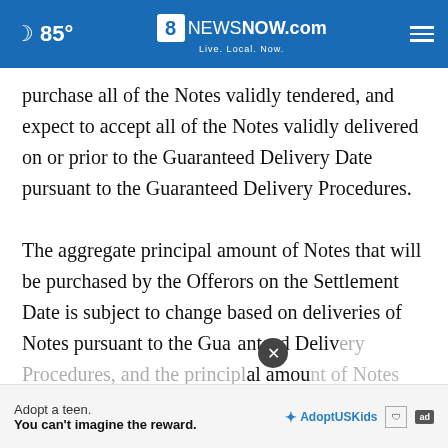85° | 8NewsNow.com Live. Local. Now.
purchase all of the Notes validly tendered, and expect to accept all of the Notes validly delivered on or prior to the Guaranteed Delivery Date pursuant to the Guaranteed Delivery Procedures.
The aggregate principal amount of Notes that will be purchased by the Offerors on the Settlement Date is subject to change based on deliveries of Notes pursuant to the Guaranteed Delivery Procedures, and the principal amount of Notes accepted and expected to be